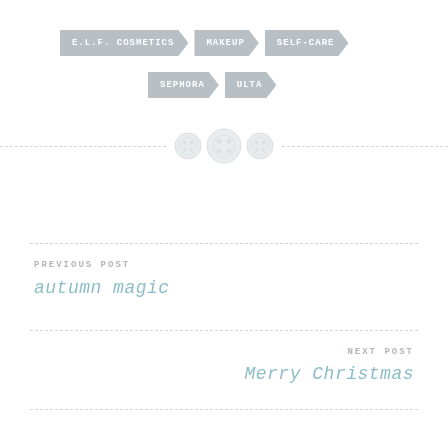E.L.F. COSMETICS
MAKEUP
SELF-CARE
SEPHORA
ULTA
[Figure (illustration): Three decorative button icons in a row centered on a dashed horizontal line divider]
PREVIOUS POST
autumn magic
NEXT POST
Merry Christmas